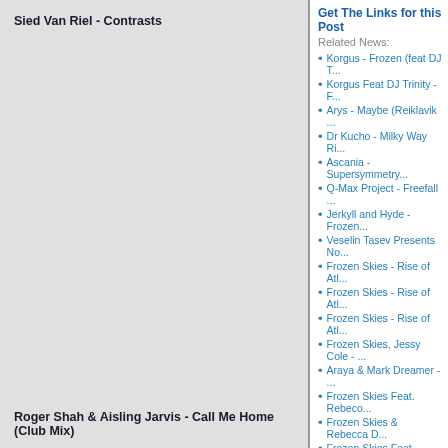Sied Van Riel - Contrasts
Roger Shah & Aisling Jarvis - Call Me Home (Club Mix)
Awii - Half Half
Get The Links for this Post
Related News:
Korgus - Frozen (feat DJ T...
Korgus Feat DJ Trinity - F...
Arys - Maybe (Reiklavik ...
Dr Kucho - Milky Way Ri...
Ascania - Supersymmetry...
Q-Max Project - Freefall ...
Jerkyll and Hyde - Frozen...
Veselin Tasev Presents No...
Frozen Skies - Rise of Atl...
Frozen Skies - Rise of Atl...
Frozen Skies - Rise of Atl...
Frozen Skies, Jessy Cole - ...
Araya & Mark Dreamer - ...
Frozen Skies Feat. Rebeco...
Frozen Skies & Rebecca D...
Frozen Skies Feat. Rebeco...
Frozen Skies Feat. Rebeco...
Djt - The Spirit
DJ Any - Memories
I5land - Dipenshi
Rating:
(Votes #: 0)